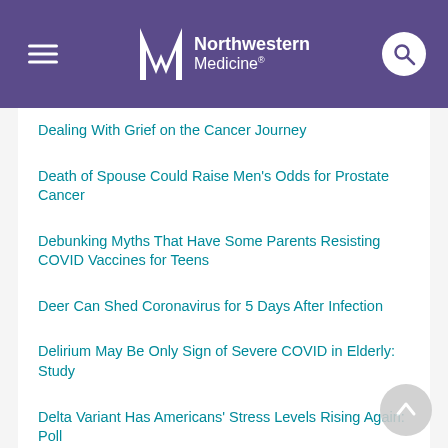Northwestern Medicine
Dealing With Grief on the Cancer Journey
Death of Spouse Could Raise Men's Odds for Prostate Cancer
Debunking Myths That Have Some Parents Resisting COVID Vaccines for Teens
Deer Can Shed Coronavirus for 5 Days After Infection
Delirium May Be Only Sign of Severe COVID in Elderly: Study
Delta Variant Has Americans' Stress Levels Rising Again: Poll
Depressed Teens May Struggle in School
Depression Can Follow Stroke, But It Often